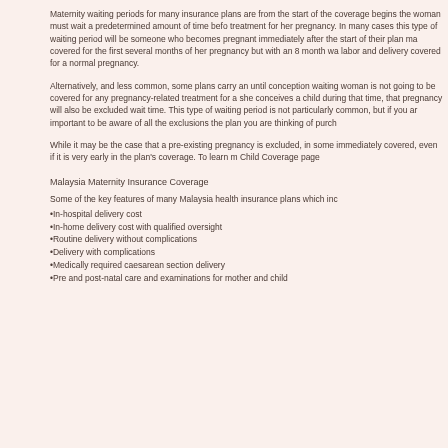Maternity waiting periods for many insurance plans are from the start of the coverage begins the woman must wait a predetermined amount of time before treatment for her pregnancy. In many cases this type of waiting period will be someone who becomes pregnant immediately after the start of their plan ma covered for the first several months of her pregnancy but with an 8 month wa labor and delivery covered for a normal pregnancy.
Alternatively, and less common, some plans carry an until conception waiting woman is not going to be covered for any pregnancy-related treatment for a she conceives a child during that time, that pregnancy will also be excluded wait time. This type of waiting period is not particularly common, but if you ar important to be aware of all the exclusions the plan you are thinking of purch
While it may be the case that a pre-existing pregnancy is excluded, in some immediately covered, even if it is very early in the plan's coverage. To learn m Child Coverage page
Malaysia Maternity Insurance Coverage
Some of the key features of many Malaysia health insurance plans which inc
•In-hospital delivery cost
•In-home delivery cost with qualified oversight
•Routine delivery without complications
•Delivery with complications
•Medically required caesarean section delivery
•Pre and post-natal care and examinations for mother and child